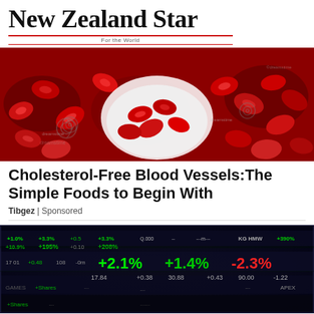New Zealand Star
For the World
[Figure (photo): Close-up photo of shiny red pomegranate seeds/arils, some in a white bowl, with dreamstime watermark logos visible]
Cholesterol-Free Blood Vessels:The Simple Foods to Begin With
Tibgez | Sponsored
[Figure (photo): Photo of a curved stock market trading board/display showing various stock tickers and percentage changes including +2.1%, +1.4%, -2.3%, 17.84, 30.88, 90.00, -1.22 in green and red numbers on dark background]